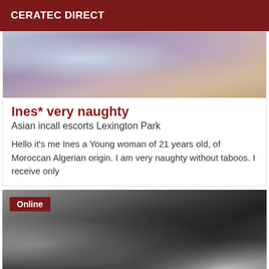CERATEC DIRECT
[Figure (photo): Close-up photo showing abstract colorful fabric or clothing]
Ines* very naughty
Asian incall escorts Lexington Park
Hello it's me Ines a Young woman of 21 years old, of Moroccan Algerian origin. I am very naughty without taboos. I receive only
[Figure (photo): Photo showing person in black clothing, with Online badge overlay]